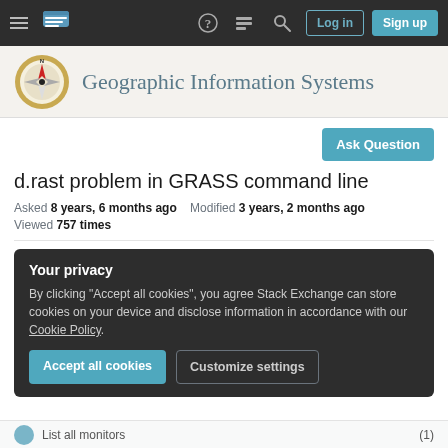Geographic Information Systems — Stack Exchange navigation bar
[Figure (screenshot): GIS Stack Exchange site logo: compass rose icon with red diamond center and gold ring]
Geographic Information Systems
Ask Question
d.rast problem in GRASS command line
Asked 8 years, 6 months ago   Modified 3 years, 2 months ago
Viewed 757 times
Your privacy
By clicking "Accept all cookies", you agree Stack Exchange can store cookies on your device and disclose information in accordance with our Cookie Policy.
Accept all cookies
Customize settings
List all monitors